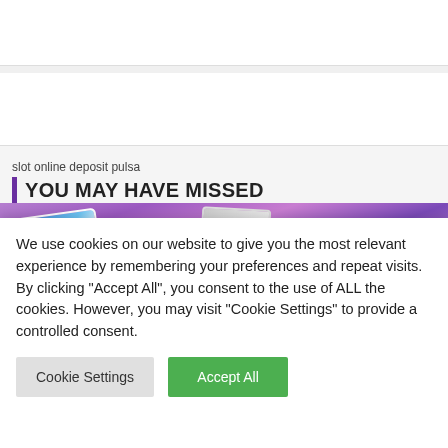[Figure (screenshot): White block area at top of page, part of a webpage layout]
[Figure (screenshot): Second white block area, part of a webpage layout]
slot online deposit pulsa
YOU MAY HAVE MISSED
[Figure (photo): Purple background with various gaming/card items scattered on it, colorful cards visible]
We use cookies on our website to give you the most relevant experience by remembering your preferences and repeat visits. By clicking "Accept All", you consent to the use of ALL the cookies. However, you may visit "Cookie Settings" to provide a controlled consent.
Cookie Settings
Accept All